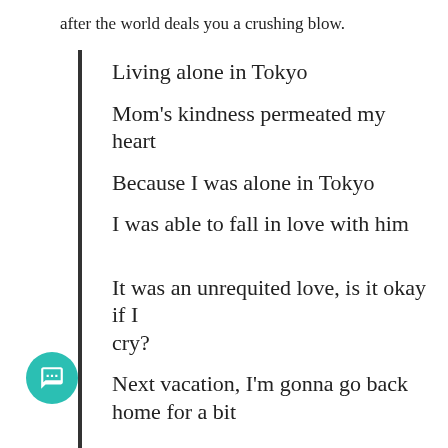after the world deals you a crushing blow.
Living alone in Tokyo
Mom's kindness permeated my heart
Because I was alone in Tokyo
I was able to fall in love with him
It was an unrequited love, is it okay if I cry?
Next vacation, I'm gonna go back home for a bit
Even if my tears don't stop